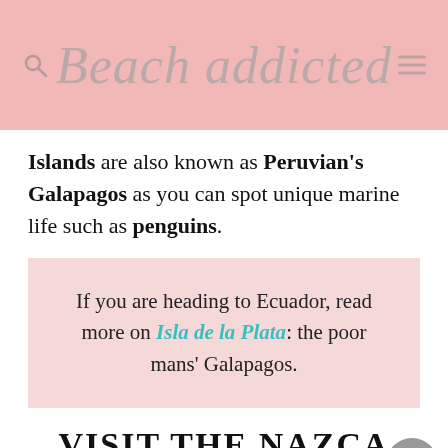Beach addicted
Islands are also known as Peruvian's Galapagos as you can spot unique marine life such as penguins.
If you are heading to Ecuador, read more on Isla de la Plata: the poor mans' Galapagos.
VISIT THE NAZCA LINES